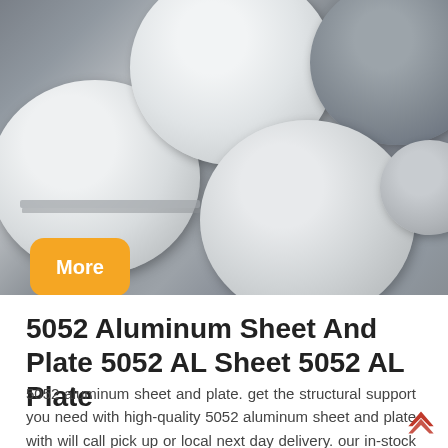[Figure (photo): Stacked circular aluminum discs/blanks in silver and grey tones, wrapped in plastic packaging, viewed from above in a warehouse or production setting.]
5052 Aluminum Sheet And Plate 5052 AL Sheet 5052 AL Plate
5052 aluminum sheet and plate. get the structural support you need with high-quality 5052 aluminum sheet and plate with will call pick up or local next day delivery. our in-stock inventory includes 5052 al sheet and 5052 al plate options in a variety of sizes with h32 temper. read more about...